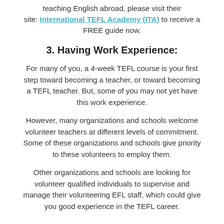teaching English abroad, please visit their site: International TEFL Academy (ITA) to receive a FREE guide now.
3. Having Work Experience:
For many of you, a 4-week TEFL course is your first step toward becoming a teacher, or toward becoming a TEFL teacher. But, some of you may not yet have this work experience.
However, many organizations and schools welcome volunteer teachers at different levels of commitment. Some of these organizations and schools give priority to these volunteers to employ them.
Other organizations and schools are looking for volunteer qualified individuals to supervise and manage their volunteering EFL staff, which could give you good experience in the TEFL career.